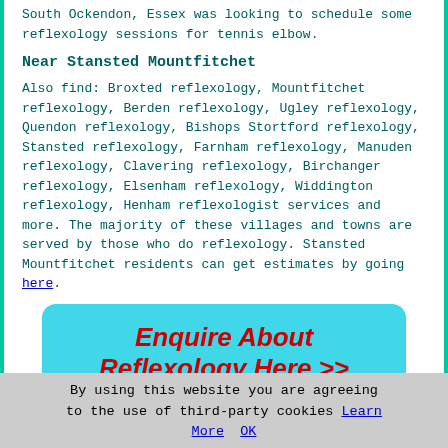South Ockendon, Essex was looking to schedule some reflexology sessions for tennis elbow.
Near Stansted Mountfitchet
Also find: Broxted reflexology, Mountfitchet reflexology, Berden reflexology, Ugley reflexology, Quendon reflexology, Bishops Stortford reflexology, Stansted reflexology, Farnham reflexology, Manuden reflexology, Clavering reflexology, Birchanger reflexology, Elsenham reflexology, Widdington reflexology, Henham reflexologist services and more. The majority of these villages and towns are served by those who do reflexology. Stansted Mountfitchet residents can get estimates by going here.
[Figure (other): Cyan rounded rectangle button with red italic bold text: Enquire About Reflexology Here >>]
Around Stansted Mountfitchet
People in the following Stansted Mountfitchet locations recently had reflexology sessions: Harbridge Close, Alsa Street, Hudgell Road, Brewery Lane, Meredith Court
By using this website you are agreeing to the use of third-party cookies Learn More  OK